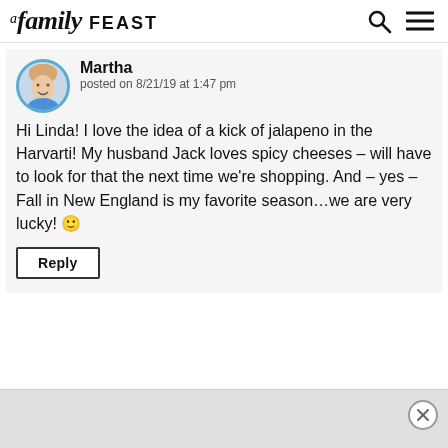A Family Feast
Martha
posted on 8/21/19 at 1:47 pm
Hi Linda! I love the idea of a kick of jalapeno in the Harvarti! My husband Jack loves spicy cheeses – will have to look for that the next time we're shopping. And – yes – Fall in New England is my favorite season…we are very lucky! 🙂
Reply